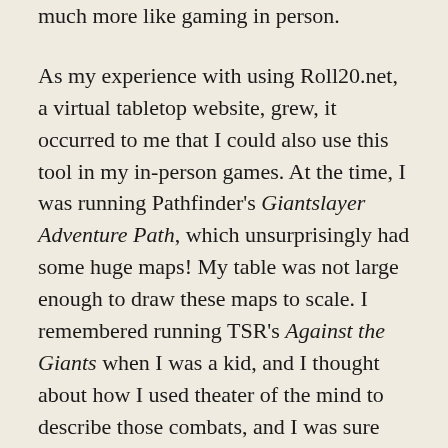much more like gaming in person.
As my experience with using Roll20.net, a virtual tabletop website, grew, it occurred to me that I could also use this tool in my in-person games. At the time, I was running Pathfinder's Giantslayer Adventure Path, which unsurprisingly had some huge maps! My table was not large enough to draw these maps to scale. I remembered running TSR's Against the Giants when I was a kid, and I thought about how I used theater of the mind to describe those combats, and I was sure that would work just fine. I saw an opportunity, however, to tell this story visually using this new technology, so I created a map representing a giant's hall the size of a football field. Everyone brought their